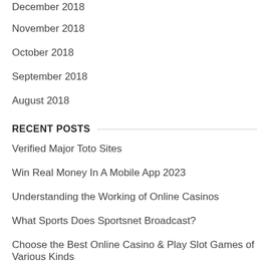December 2018
November 2018
October 2018
September 2018
August 2018
RECENT POSTS
Verified Major Toto Sites
Win Real Money In A Mobile App 2023
Understanding the Working of Online Casinos
What Sports Does Sportsnet Broadcast?
Choose the Best Online Casino & Play Slot Games of Various Kinds